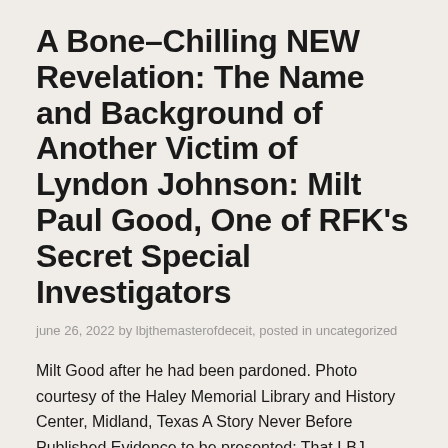A Bone–Chilling NEW Revelation: The Name and Background of Another Victim of Lyndon Johnson: Milt Paul Good, One of RFK's Secret Special Investigators
june 26, 2022 by lbjthemasterofdeceit, posted in uncategorized
Milt Good after he had been pardoned. Photo courtesy of the Haley Memorial Library and History Center, Midland, Texas A Story Never Before Published Evidence to be presented: That LBJ Ordered the Murder of RFK's Special Agent Milt Paul Good — one which Mac Wallace Evidently Filled on July 3, 1960 — Just One